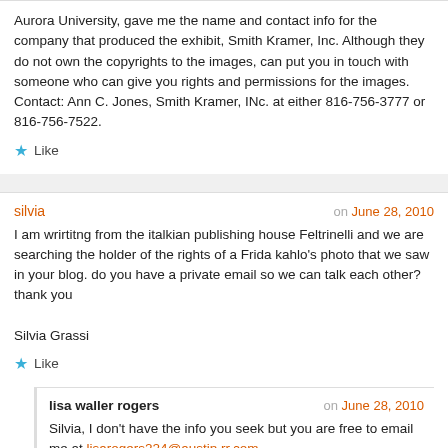Aurora University, gave me the name and contact info for the company that produced the exhibit, Smith Kramer, Inc. Although they do not own the copyrights to the images, can put you in touch with someone who can give you rights and permissions for the images. Contact: Ann C. Jones, Smith Kramer, INc. at either 816-756-3777 or 816-756-7522.
Like
silvia on June 28, 2010
I am wrirtitng from the italkian publishing house Feltrinelli and we are searching the holder of the rights of a Frida kahlo's photo that we saw in your blog. do you have a private email so we can talk each other? thank you

Silvia Grassi
Like
lisa waller rogers on June 28, 2010
Silvia, I don't have the info you seek but you are free to email me at lisarogers224@austin.rr.com.